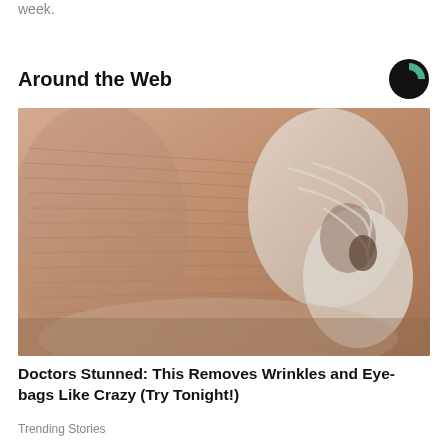week.
Around the Web
[Figure (photo): Close-up photograph of an elderly person's face showing heavily wrinkled skin with a white cream or mask product applied to it]
Doctors Stunned: This Removes Wrinkles and Eye-bags Like Crazy (Try Tonight!)
Trending Stories